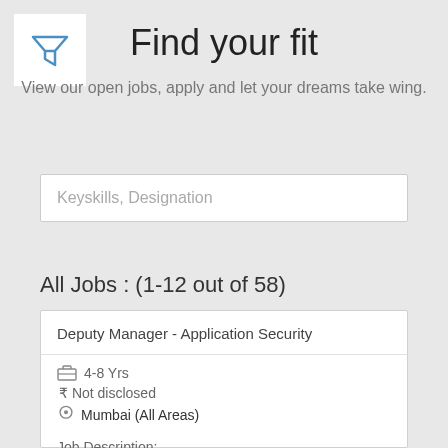[Figure (logo): Blue funnel/filter icon on white background]
Find your fit
View our open jobs, apply and let your dreams take wing.
Keyskills, Designation
All Jobs : (1-12 out of 58)
Deputy Manager - Application Security
4-8 Yrs
₹ Not disclosed
Mumbai (All Areas)
Job Description: